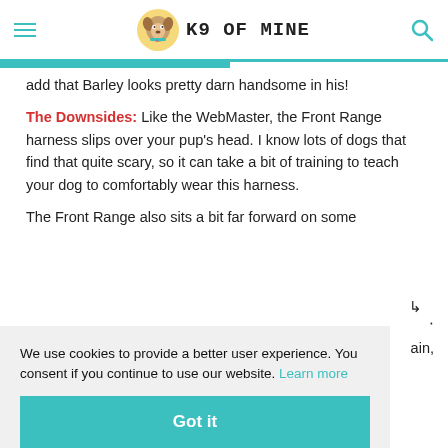K9 OF MINE
add that Barley looks pretty darn handsome in his!
The Downsides: Like the WebMaster, the Front Range harness slips over your pup’s head. I know lots of dogs that find that quite scary, so it can take a bit of training to teach your dog to comfortably wear this harness.
The Front Range also sits a bit far forward on some
We use cookies to provide a better user experience. You consent if you continue to use our website. Learn more
Got it